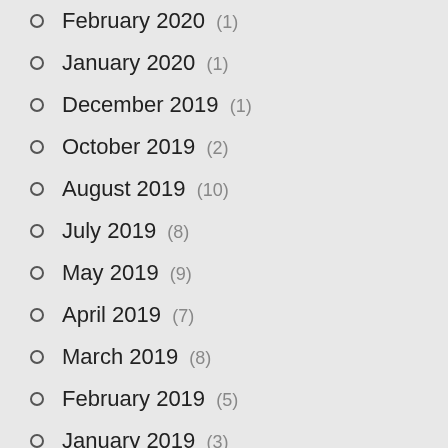February 2020 (1)
January 2020 (1)
December 2019 (1)
October 2019 (2)
August 2019 (10)
July 2019 (8)
May 2019 (9)
April 2019 (7)
March 2019 (8)
February 2019 (5)
January 2019 (3)